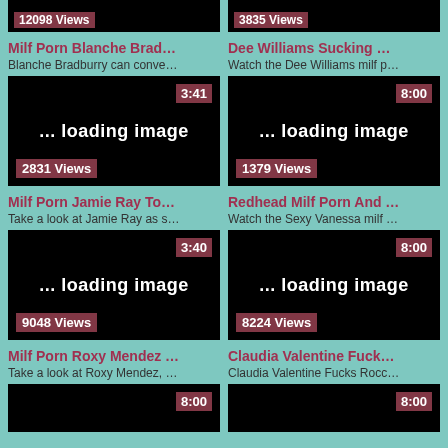[Figure (screenshot): Video thumbnail black with 12098 Views badge]
[Figure (screenshot): Video thumbnail black with 3835 Views badge]
Milf Porn Blanche Brad…
Blanche Bradburry can conve…
Dee Williams Sucking …
Watch the Dee Williams milf p…
[Figure (screenshot): Video thumbnail black, duration 3:41, 2831 Views, loading image text]
[Figure (screenshot): Video thumbnail black, duration 8:00, 1379 Views, loading image text]
Milf Porn Jamie Ray To…
Take a look at Jamie Ray as s…
Redhead Milf Porn And …
Watch the Sexy Vanessa milf …
[Figure (screenshot): Video thumbnail black, duration 3:40, 9048 Views, loading image text]
[Figure (screenshot): Video thumbnail black, duration 8:00, 8224 Views, loading image text]
Milf Porn Roxy Mendez …
Take a look at Roxy Mendez, …
Claudia Valentine Fuck…
Claudia Valentine Fucks Rocc…
[Figure (screenshot): Video thumbnail black, duration 8:00]
[Figure (screenshot): Video thumbnail black, duration 8:00]